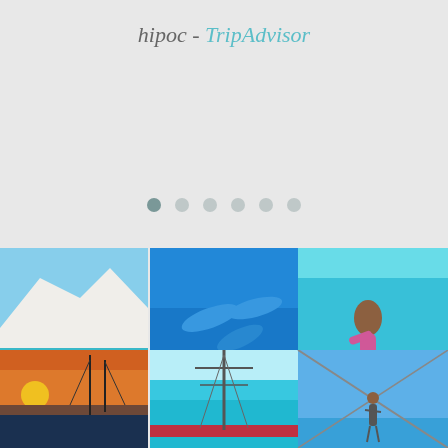hipoc - TripAdvisor
[Figure (infographic): Six navigation dots below the title area, first dot is darker (active), rest are lighter gray]
[Figure (photo): 3x2 grid of travel photos: top row - white cliffs over turquoise sea, dolphins underwater, person swimming underwater; bottom row - sailboat at sunset, tall ship mast over turquoise water, person on sailboat rigging]
[Figure (photo): Bottom row of travel photos partially visible: sailboat at sunset with orange sky, ship mast over bright turquoise water, person on boat rigging against blue sky]